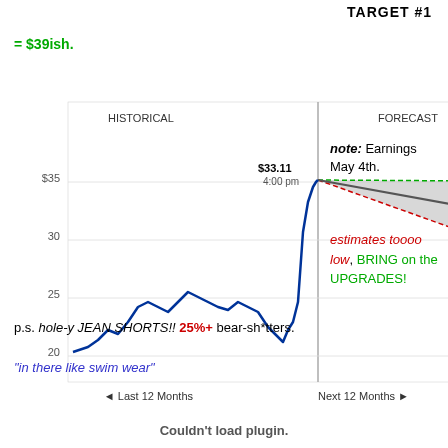TARGET #1
= $39ish.
[Figure (continuous-plot): Stock price chart showing historical price over last 12 months (rising from ~$20 to $33.11 at 4:00pm) and a forecast cone for next 12 months with HIGH $35.00 (+5.7%), MEDIAN $30.00 (-9.4%), and LOW $25.00 (-24.5%). The historical section shows a jagged blue line and the forecast section shows a gray shaded cone with green dashed upper bound and red dashed lower bound.]
note: Earnings May 4th.
estimates toooo low, BRING on the UPGRADES!
p.s. hole-y JEAN SHORTS!! 25%+ bear-sh*tters.
"in there like swim wear"
Couldn't load plugin.